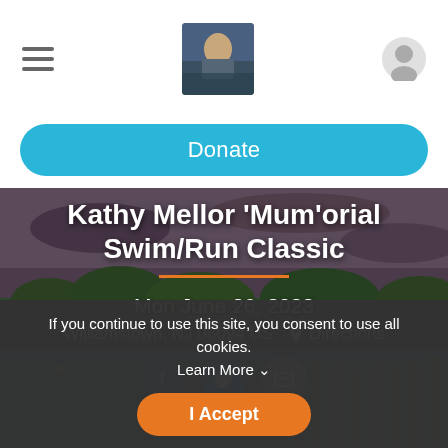[Figure (screenshot): Mobile app header with hamburger menu, logo photo of person in kayak, and user profile icon]
Donate
Kathy Mellor 'Mum'orial Swim/Run Classic
Mon June 26, 2023
Williamstown, NJ 08094 US  Directions
[Figure (illustration): Social share icons: Facebook, Twitter, Email]
If you continue to use this site, you consent to use all cookies. Learn More ∨
I Accept